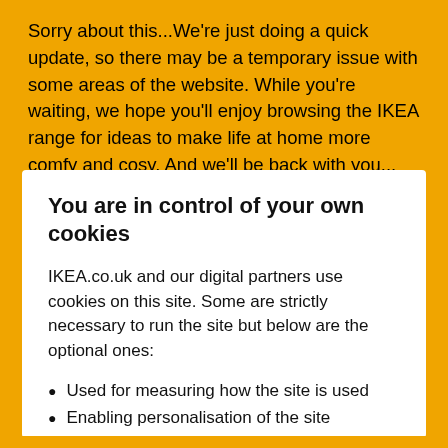Sorry about this...We're just doing a quick update, so there may be a temporary issue with some areas of the website. While you're waiting, we hope you'll enjoy browsing the IKEA range for ideas to make life at home more comfy and cosy. And we'll be back with you...
You are in control of your own cookies
IKEA.co.uk and our digital partners use cookies on this site. Some are strictly necessary to run the site but below are the optional ones:
Used for measuring how the site is used
Enabling personalisation of the site
For advertising marketing and social media
Read more and customise cookie settings
Accept All Cookies
Cookie Settings